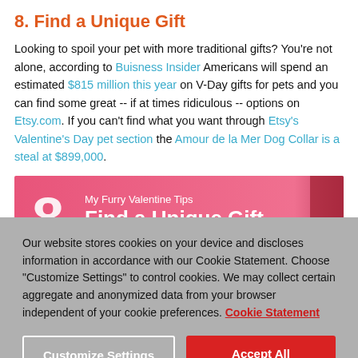8. Find a Unique Gift
Looking to spoil your pet with more traditional gifts? You're not alone, according to Buisness Insider Americans will spend an estimated $815 million this year on V-Day gifts for pets and you can find some great -- if at times ridiculous -- options on Etsy.com. If you can't find what you want through Etsy's Valentine's Day pet section the Amour de la Mer Dog Collar is a steal at $899,000.
[Figure (screenshot): Pink banner image with large number 8 and text 'My Furry Valentine Tips / Find a Unique Gift' with a furry pet visible at bottom]
Our website stores cookies on your device and discloses information in accordance with our Cookie Statement. Choose "Customize Settings" to control cookies. We may collect certain aggregate and anonymized data from your browser independent of your cookie preferences. Cookie Statement
Customize Settings   Accept All